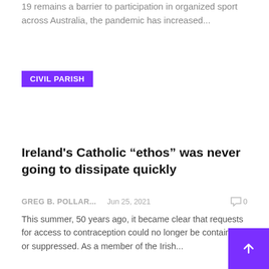19 remains a barrier to participation in organized sport across Australia, the pandemic has increased...
CIVIL PARISH
Ireland's Catholic “ethos” was never going to dissipate quickly
GREG B. POLLAR...    Jun 25, 2021    ☐ 0
This summer, 50 years ago, it became clear that requests for access to contraception could no longer be contained or suppressed. As a member of the Irish...
[Figure (photo): Outdoor photo showing blue sky with a small airplane and trees at the bottom, with a purple VILLAGE tag overlay in the top-left corner]